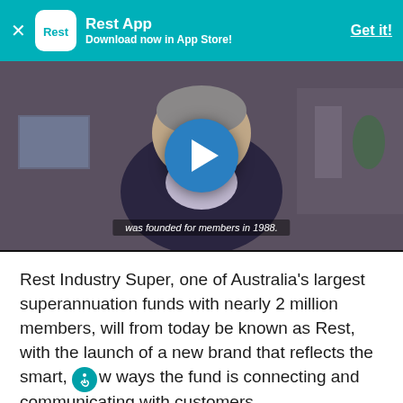Rest App — Download now in App Store! Get it!
[Figure (screenshot): Video thumbnail showing a man in a suit with a blue play button overlay. Subtitle text reads 'was founded for members in 1988.']
Rest Industry Super, one of Australia's largest superannuation funds with nearly 2 million members, will from today be known as Rest, with the launch of a new brand that reflects the smart, new ways the fund is connecting and communicating with customers.